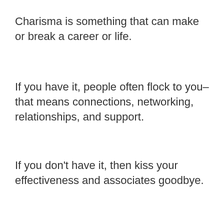Charisma is something that can make or break a career or life.
If you have it, people often flock to you–that means connections, networking, relationships, and support.
If you don't have it, then kiss your effectiveness and associates goodbye.